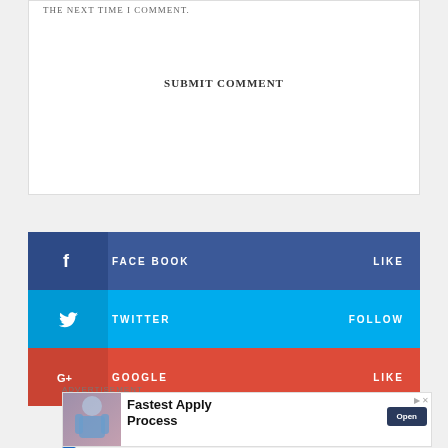THE NEXT TIME I COMMENT.
SUBMIT COMMENT
FACEBOOK  LIKE
TWITTER  FOLLOW
GOOGLE  LIKE
ADVERTISEMENT
[Figure (photo): Advertisement for Medical Solutions showing a nurse wearing a mask with text 'Fastest Apply Process' and an Open button]
Medical Solutions